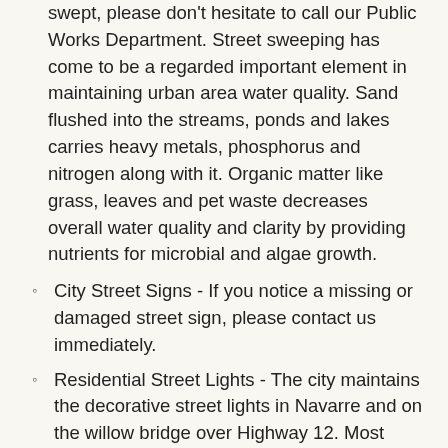swept, please don't hesitate to call our Public Works Department. Street sweeping has come to be a regarded important element in maintaining urban area water quality. Sand flushed into the streams, ponds and lakes carries heavy metals, phosphorus and nitrogen along with it. Organic matter like grass, leaves and pet waste decreases overall water quality and clarity by providing nutrients for microbial and algae growth.
City Street Signs - If you notice a missing or damaged street sign, please contact us immediately.
Residential Street Lights - The city maintains the decorative street lights in Navarre and on the willow bridge over Highway 12. Most other street lights are maintained by the electric companies.
Right of Way Vegetation Maintenance - The City is responsible for tree trimming along public city streets as necessary to maintain safe road conditions. The utility companies are also...